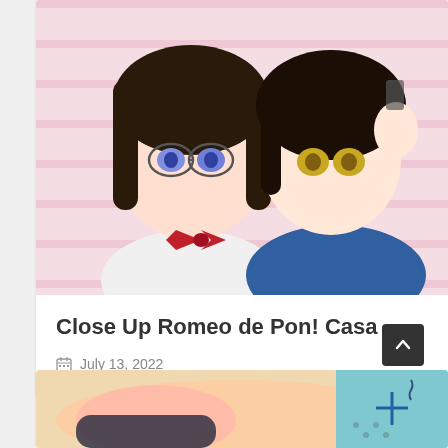[Figure (illustration): Anime-style illustration showing two female characters with dark hair, one wearing glasses with blue-purple eyes and red bow tie in white outfit, the other with yellow eyes in blue outfit, against pink striped background]
Close Up Romeo de Pon! Casa
July 13, 2022
[Figure (illustration): Anime-style adult illustration showing a female character with dark hair lying down, partially unclothed, with a teal decorative panel visible on the right side with a scroll-to-top button overlay]